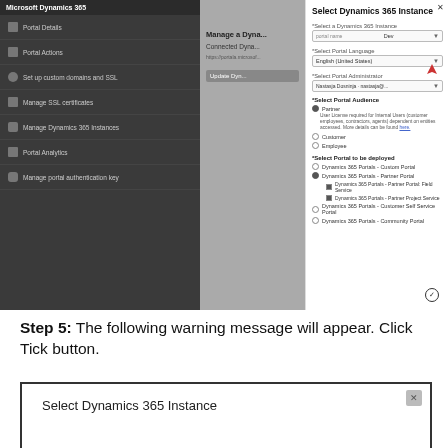[Figure (screenshot): Screenshot of Microsoft Dynamics 365 portal management interface with a 'Select Dynamics 365 Instance' dialog open on the right side, showing dropdown fields for instance, portal language, administrator, and radio buttons for portal audience and portal to be deployed options.]
Step 5: The following warning message will appear.  Click Tick button.
[Figure (screenshot): Bottom portion of a 'Select Dynamics 365 Instance' dialog box with an X close button in the upper right corner.]